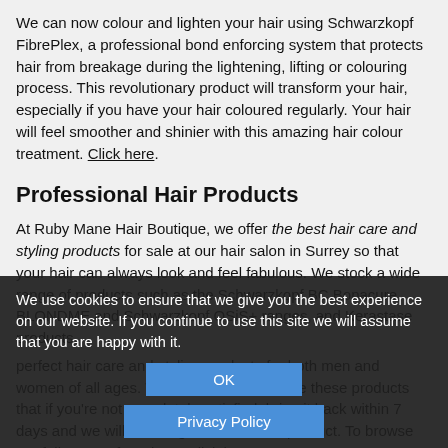We can now colour and lighten your hair using Schwarzkopf FibrePlex, a professional bond enforcing system that protects hair from breakage during the lightening, lifting or colouring process. This revolutionary product will transform your hair, especially if you have your hair coloured regularly. Your hair will feel smoother and shinier with this amazing hair colour treatment. Click here.
Professional Hair Products
At Ruby Mane Hair Boutique, we offer the best hair care and styling products for sale at our hair salon in Surrey so that your hair can always look and feel fabulous. We stock a wide range of products such as the Schwarzkopf BC Bonacure, BLONDME and Schwarzkopf OSiS+ ranges, and Kerastase products.
perfect hair care and styling products for both men and women of all ages. We're so sure you'll love these products that if you're not completely satisfied, bring it back within 7 days and we will exchange it for another product. To browse our full range of products, click here.
We use cookies to ensure that we give you the best experience on our website. If you continue to use this site we will assume that you are happy with it.